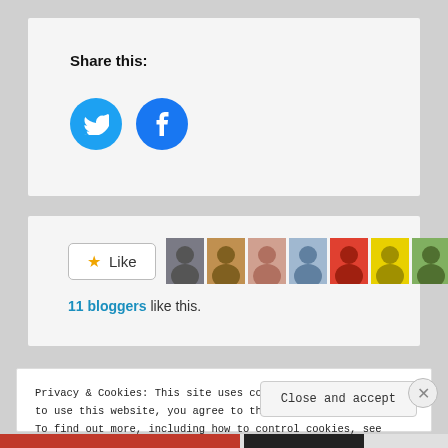Share this:
[Figure (infographic): Two circular social sharing buttons: Twitter (blue bird icon) and Facebook (blue f icon)]
[Figure (infographic): Like button with star icon and a row of 9 blogger profile photos]
11 bloggers like this.
Privacy & Cookies: This site uses cookies. By continuing to use this website, you agree to their use. To find out more, including how to control cookies, see here: Cookie Policy
Close and accept